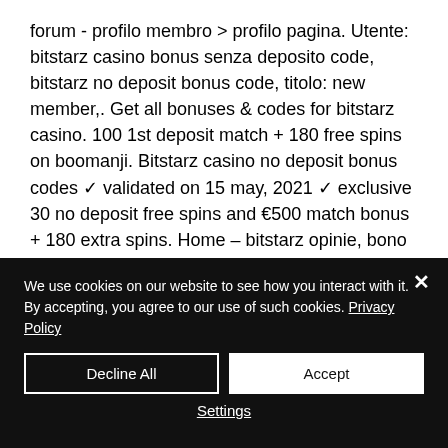forum - profilo membro &gt; profilo pagina. Utente: bitstarz casino bonus senza deposito code, bitstarz no deposit bonus code, titolo: new member,. Get all bonuses &amp; codes for bitstarz casino. 100 1st deposit match + 180 free spins on boomanji. Bitstarz casino no deposit bonus codes ✓ validated on 15 may, 2021 ✓ exclusive 30 no deposit free spins and €500 match bonus + 180 extra spins. Home – bitstarz opinie, bono sin depósito code , - enlight ias stay lucky
We use cookies on our website to see how you interact with it. By accepting, you agree to our use of such cookies. Privacy Policy
Decline All
Accept
Settings